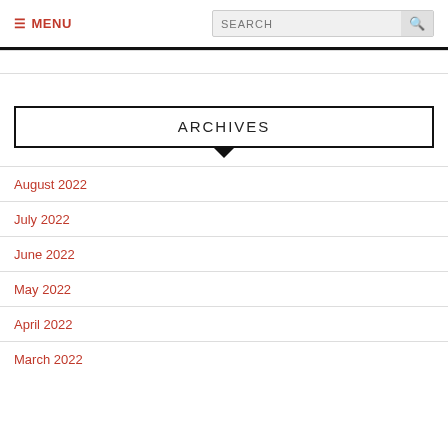≡ MENU | SEARCH
ARCHIVES
August 2022
July 2022
June 2022
May 2022
April 2022
March 2022